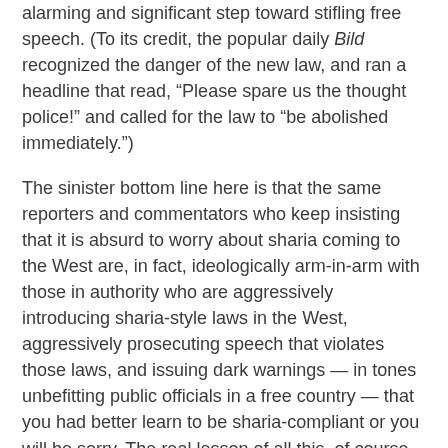alarming and significant step toward stifling free speech. (To its credit, the popular daily Bild recognized the danger of the new law, and ran a headline that read, “Please spare us the thought police!” and called for the law to “be abolished immediately.”)
The sinister bottom line here is that the same reporters and commentators who keep insisting that it is absurd to worry about sharia coming to the West are, in fact, ideologically arm-in-arm with those in authority who are aggressively introducing sharia-style laws in the West, aggressively prosecuting speech that violates those laws, and issuing dark warnings — in tones unbefitting public officials in a free country — that you had better learn to be sharia-compliant or you will be sorry. The real lesson of all this, of course, is that we had better learn to be aggressive in our resistance to this proliferation of sharia-influenced prohibitions or we will, indeed, end up being very, very sorry.